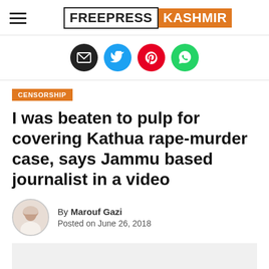FREEPRESS KASHMIR
[Figure (illustration): Social media sharing icons: email (black), Twitter (blue), Pinterest (red), WhatsApp (green)]
CENSORSHIP
I was beaten to pulp for covering Kathua rape-murder case, says Jammu based journalist in a video
By Marouf Gazi
Posted on June 26, 2018
[Figure (other): Video or image placeholder area with grey background]